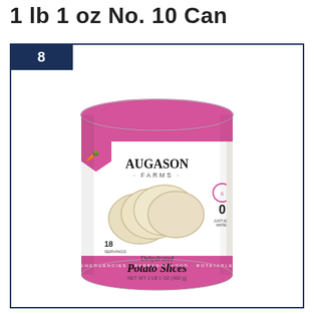1 lb 1 oz No. 10 Can
8
[Figure (photo): Augason Farms Dehydrated Potato Slices No. 10 Can, 1 lb 1 oz (482g), 18 servings, with pink/magenta label band, showing sliced potatoes image on front.]